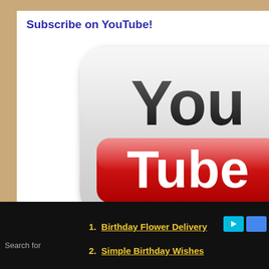Subscribe on YouTube!
[Figure (logo): YouTube logo: rounded square icon with 'You' in black text and 'Tube' in white text on a red rounded rectangle, on a silver/white background with gradient shading.]
Did You See?
Pe th uk
Hu En Ba ke
An th gr m
Search for
1. Birthday Flower Delivery
2. Simple Birthday Wishes